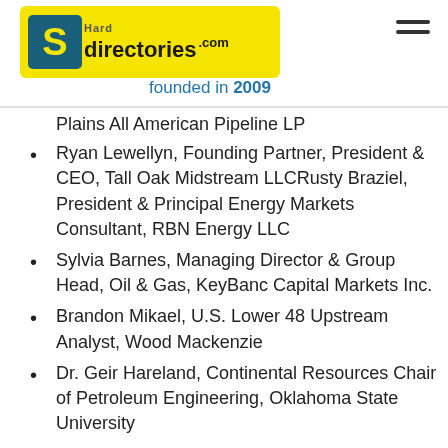[Figure (logo): HardDirectories.com logo on yellow background with teal icon featuring letter S]
founded in 2009
Plains All American Pipeline LP
Ryan Lewellyn, Founding Partner, President & CEO, Tall Oak Midstream LLCRusty Braziel, President & Principal Energy Markets Consultant, RBN Energy LLC
Sylvia Barnes, Managing Director & Group Head, Oil & Gas, KeyBanc Capital Markets Inc.
Brandon Mikael, U.S. Lower 48 Upstream Analyst, Wood Mackenzie
Dr. Geir Hareland, Continental Resources Chair of Petroleum Engineering, Oklahoma State University